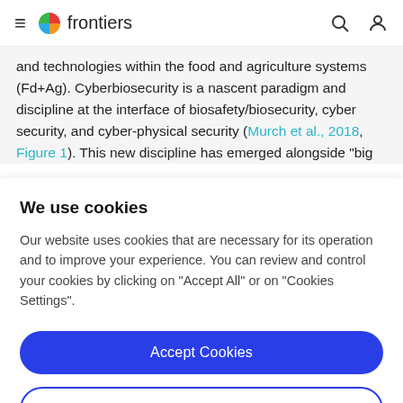frontiers
and technologies within the food and agriculture systems (Fd+Ag). Cyberbiosecurity is a nascent paradigm and discipline at the interface of biosafety/biosecurity, cyber security, and cyber-physical security (Murch et al., 2018, Figure 1). This new discipline has emerged alongside "big
We use cookies
Our website uses cookies that are necessary for its operation and to improve your experience. You can review and control your cookies by clicking on "Accept All" or on "Cookies Settings".
Accept Cookies
Cookies Settings